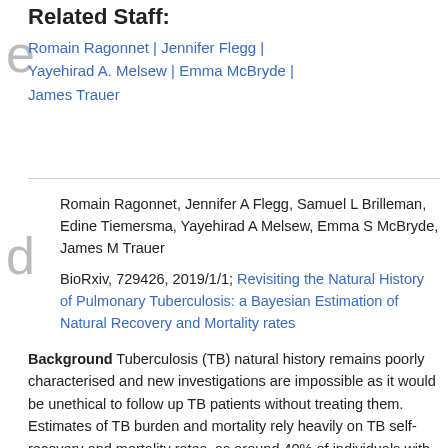Related Staff:
Romain Ragonnet | Jennifer Flegg | Yayehirad A. Melsew | Emma McBryde | James Trauer
Romain Ragonnet, Jennifer A Flegg, Samuel L Brilleman, Edine Tiemersma, Yayehirad A Melsew, Emma S McBryde, James M Trauer
BioRxiv, 729426, 2019/1/1; Revisiting the Natural History of Pulmonary Tuberculosis: a Bayesian Estimation of Natural Recovery and Mortality rates
Background Tuberculosis (TB) natural history remains poorly characterised and new investigations are impossible as it would be unethical to follow up TB patients without treating them. Estimates of TB burden and mortality rely heavily on TB self-recovery and mortality rates, as around 40% of individuals with TB are never detected, making their prognosis